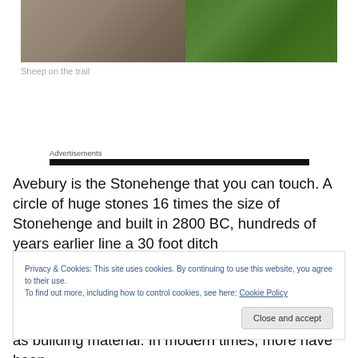[Figure (photo): Photo showing a gravel/dirt trail on the left side and green grass on the right side, viewed from above at an angle. Rope or string visible at upper right corner.]
Sheep on the trail
Advertisements
Avebury is the Stonehenge that you can touch. A circle of huge stones 16 times the size of Stonehenge and built in 2800 BC, hundreds of years earlier line a 30 foot ditch
Privacy & Cookies: This site uses cookies. By continuing to use this website, you agree to their use.
To find out more, including how to control cookies, see here: Cookie Policy
as building material. In modern times, more have been